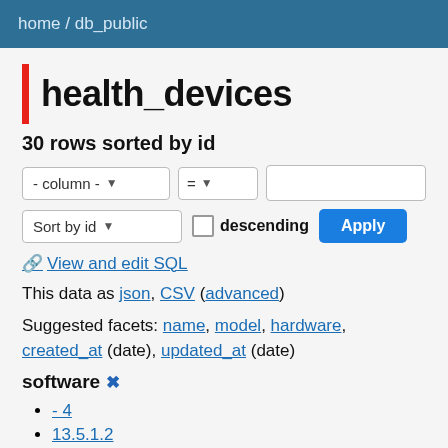home / db_public
health_devices
30 rows sorted by id
[Figure (screenshot): Filter controls: column dropdown set to '- column -', operator dropdown set to '=', and a text input field]
[Figure (screenshot): Sort controls: 'Sort by id' dropdown, 'descending' checkbox (unchecked), and 'Apply' button]
🔗 View and edit SQL
This data as json, CSV (advanced)
Suggested facets: name, model, hardware, created_at (date), updated_at (date)
software ✕
- 4
13.5.1.2